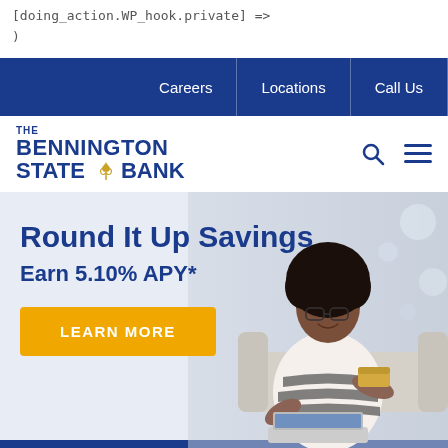[doing_action.WP_hook.private] =>
)
Careers | Locations | Call Us
[Figure (logo): The Bennington State Bank logo with wheat graphic]
Round It Up Savings
Earn 5.10% APY*
LEARN MORE
[Figure (photo): Woman with natural hair, glasses, striped shirt, sitting on couch with laptop and credit card, smiling]